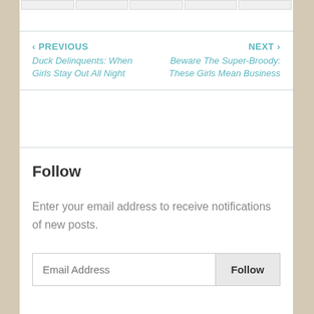‹ PREVIOUS Duck Delinquents: When Girls Stay Out All Night
NEXT › Beware The Super-Broody: These Girls Mean Business
Follow
Enter your email address to receive notifications of new posts.
Email Address  Follow